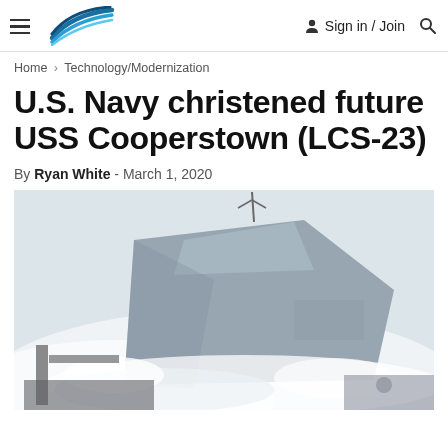Sign in / Join
Home › Technology/Modernization
U.S. Navy christened future USS Cooperstown (LCS-23)
By Ryan White - March 1, 2020
[Figure (photo): USS Cooperstown (LCS-23) naval vessel being launched into water, tilted at an angle with white spray and mist surrounding it. The gray ship hull is visible with dock equipment in the foreground.]